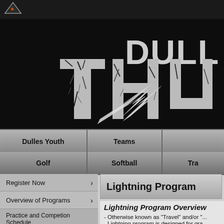[Figure (logo): Small triangular logo icon in top left corner, white/orange on dark background]
[Figure (illustration): Dulles Thunder sports team banner — large cracked stone text reading 'DULLES THU...' with lightning bolt graphic on black background]
| Dulles Youth | Teams | (more) |
| --- | --- | --- |
| Golf | Softball | Tra... |
Register Now
Overview of Programs
Practice and Competion Schedule
Equipment, Uniforms, Apparel
Lightning Program
Lightning Program Overview
- Otherwise known as "Travel" and/or "...
- Lightning program is designed for gra...
- This is designed for wrestlers that wis...